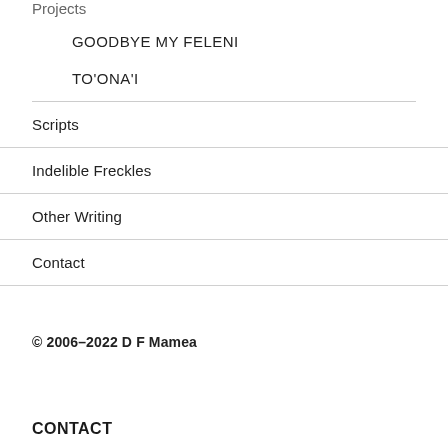Projects
GOODBYE MY FELENI
TO'ONA'I
Scripts
Indelible Freckles
Other Writing
Contact
© 2006–2022 D F Mamea
CONTACT